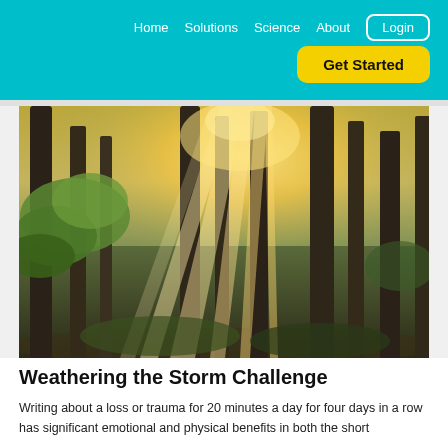Home  Solutions  Science  About  Login  Get Started
[Figure (photo): Sunlit forest with tall trees and rays of light streaming through the canopy, with green leaves in the foreground and forest floor covered in leaves]
Weathering the Storm Challenge
Writing about a loss or trauma for 20 minutes a day for four days in a row has significant emotional and physical benefits in both the short